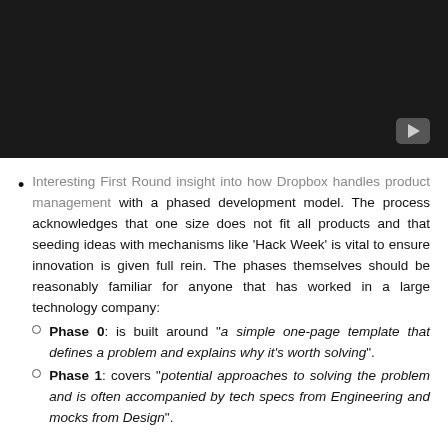[Figure (screenshot): Dark video thumbnail with a play button in the bottom-right corner]
Interesting First Round insight into how Dropbox handles product management with a phased development model. The process acknowledges that one size does not fit all products and that seeding ideas with mechanisms like 'Hack Week' is vital to ensure innovation is given full rein. The phases themselves should be reasonably familiar for anyone that has worked in a large technology company:
Phase 0: is built around "a simple one-page template that defines a problem and explains why it's worth solving".
Phase 1: covers "potential approaches to solving the problem and is often accompanied by tech specs from Engineering and mocks from Design".